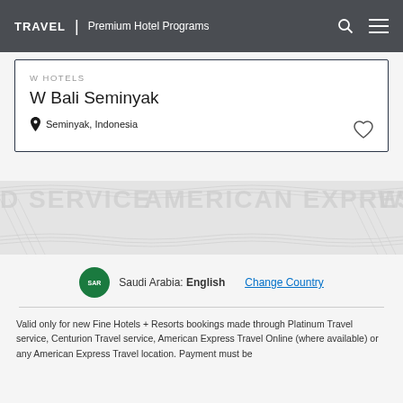TRAVEL | Premium Hotel Programs
W HOTELS
W Bali Seminyak
Seminyak, Indonesia
[Figure (logo): American Express watermark band with repeated 'AMERICAN EXPRESS' and 'WORLD SERVICE' text in light gray]
Saudi Arabia: English   Change Country
Valid only for new Fine Hotels + Resorts bookings made through Platinum Travel service, Centurion Travel service, American Express Travel Online (where available) or any American Express Travel location. Payment must be